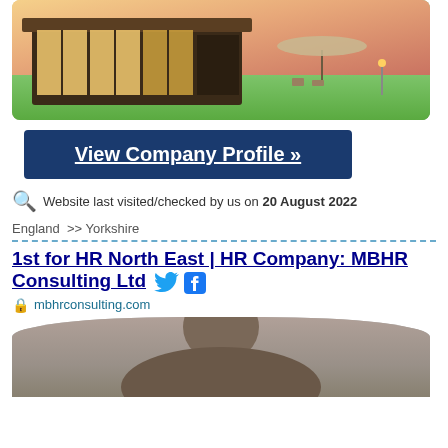[Figure (photo): Photo of a modern building with large glass windows illuminated at dusk, with a lawn, outdoor chairs, and a patio umbrella visible in the background under a pink sky.]
View Company Profile »
Website last visited/checked by us on 20 August 2022
England >> Yorkshire
1st for HR North East | HR Company: MBHR Consulting Ltd
mbhrconsulting.com
[Figure (photo): Partial photo of a person, likely a business professional.]